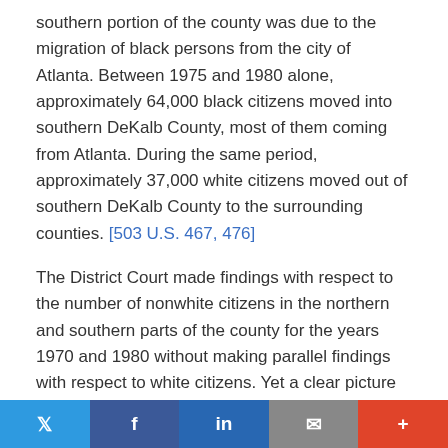southern portion of the county was due to the migration of black persons from the city of Atlanta. Between 1975 and 1980 alone, approximately 64,000 black citizens moved into southern DeKalb County, most of them coming from Atlanta. During the same period, approximately 37,000 white citizens moved out of southern DeKalb County to the surrounding counties. [503 U.S. 467, 476]
The District Court made findings with respect to the number of nonwhite citizens in the northern and southern parts of the county for the years 1970 and 1980 without making parallel findings with respect to white citizens. Yet a clear picture does emerge. During the relevant period, the black population in the southern portion of the county experienced tremendous growth, while the white population did not, and the white population in the northern part of the county experienced tremendous growth, while the black population
Twitter | Facebook | in | Email | +